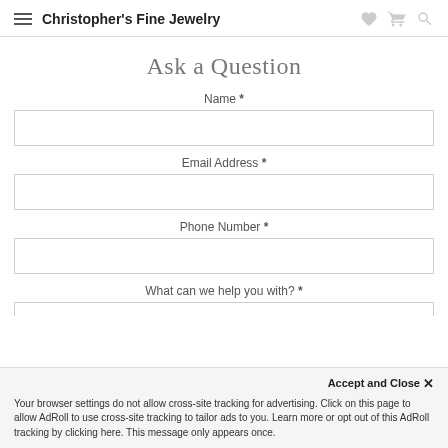Christopher's Fine Jewelry
Ask a Question
Name *
Email Address *
Phone Number *
What can we help you with? *
Accept and Close ✕
Your browser settings do not allow cross-site tracking for advertising. Click on this page to allow AdRoll to use cross-site tracking to tailor ads to you. Learn more or opt out of this AdRoll tracking by clicking here. This message only appears once.